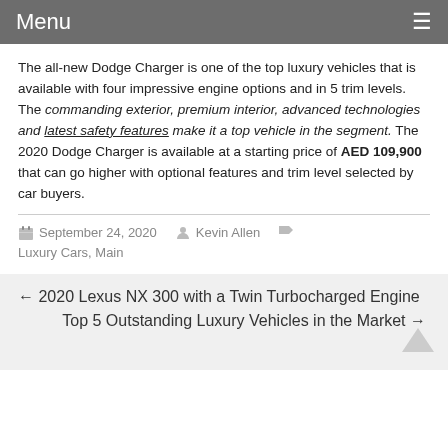Menu
The all-new Dodge Charger is one of the top luxury vehicles that is available with four impressive engine options and in 5 trim levels. The commanding exterior, premium interior, advanced technologies and latest safety features make it a top vehicle in the segment. The 2020 Dodge Charger is available at a starting price of AED 109,900 that can go higher with optional features and trim level selected by car buyers.
September 24, 2020   Kevin Allen
Luxury Cars, Main
← 2020 Lexus NX 300 with a Twin Turbocharged Engine
Top 5 Outstanding Luxury Vehicles in the Market →